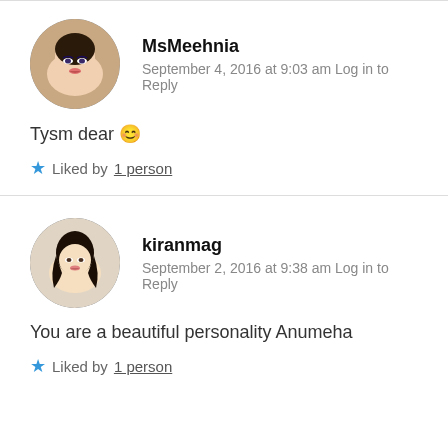[Figure (photo): Circular avatar of MsMeehnia, young woman with blue eye makeup]
MsMeehnia
September 4, 2016 at 9:03 am Log in to Reply
Tysm dear 😊
★ Liked by 1 person
[Figure (photo): Circular avatar of kiranmag, young woman with long dark hair]
kiranmag
September 2, 2016 at 9:38 am Log in to Reply
You are a beautiful personality Anumeha
★ Liked by 1 person